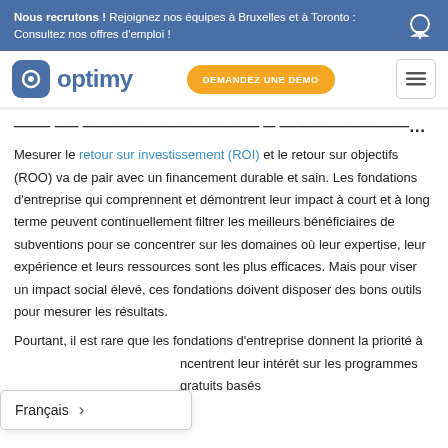Nous recrutons ! Rejoignez nos équipes à Bruxelles et à Toronto : Consultez nos offres d'emploi !
[Figure (logo): Optimy logo with blue rounded square icon and text 'optimy']
... (partiellement visible) pour évaluation de l'impact
Mesurer le retour sur investissement (ROI) et le retour sur objectifs (ROO) va de pair avec un financement durable et sain. Les fondations d'entreprise qui comprennent et démontrent leur impact à court et à long terme peuvent continuellement filtrer les meilleurs bénéficiaires de subventions pour se concentrer sur les domaines où leur expertise, leur expérience et leurs ressources sont les plus efficaces. Mais pour viser un impact social élevé, ces fondations doivent disposer des bons outils pour mesurer les résultats.
Pourtant, il est rare que les fondations d'entreprise donnent la priorité à ... ncentrent leur intérêt sur les programmes gratuits basés ...
Français >